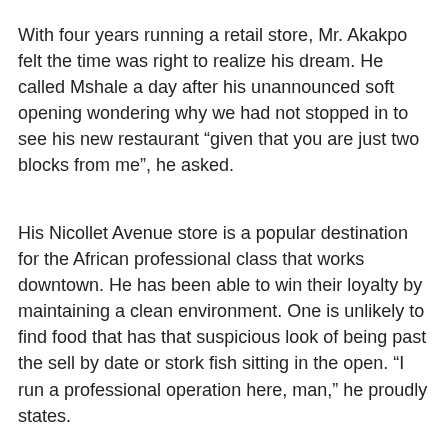With four years running a retail store, Mr. Akakpo felt the time was right to realize his dream. He called Mshale a day after his unannounced soft opening wondering why we had not stopped in to see his new restaurant “given that you are just two blocks from me”, he asked.
His Nicollet Avenue store is a popular destination for the African professional class that works downtown. He has been able to win their loyalty by maintaining a clean environment. One is unlikely to find food that has that suspicious look of being past the sell by date or stork fish sitting in the open. “I run a professional operation here, man,” he proudly states.